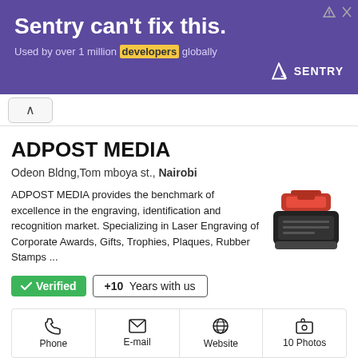[Figure (screenshot): Sentry advertisement banner: purple background with text 'Sentry can't fix this.' and 'Used by over 1 million developers globally', Sentry logo on right]
ADPOST MEDIA
Odeon Bldng,Tom mboya st., Nairobi
ADPOST MEDIA provides the benchmark of excellence in the engraving, identification and recognition market. Specializing in Laser Engraving of Corporate Awards, Gifts, Trophies, Plaques, Rubber Stamps ...
✓ Verified   +10 Years with us
Phone   E-mail   Website   10 Photos
Heron Printers and Stationers